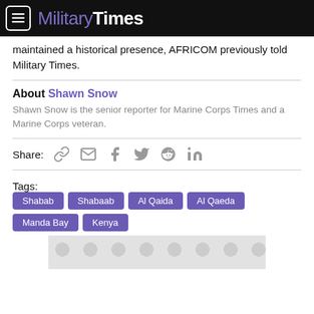Military Times
maintained a historical presence, AFRICOM previously told Military Times.
About Shawn Snow
Shawn Snow is the senior reporter for Marine Corps Times and a Marine Corps veteran.
Share:
Tags: Shabab  Shabaab  Al Qaida  Al Qaeda  Manda Bay  Kenya